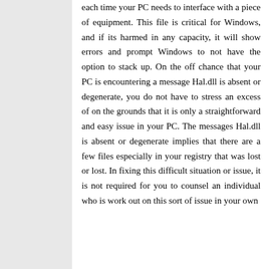each time your PC needs to interface with a piece of equipment. This file is critical for Windows, and if its harmed in any capacity, it will show errors and prompt Windows to not have the option to stack up. On the off chance that your PC is encountering a message Hal.dll is absent or degenerate, you do not have to stress an excess of on the grounds that it is only a straightforward and easy issue in your PC. The messages Hal.dll is absent or degenerate implies that there are a few files especially in your registry that was lost or lost. In fixing this difficult situation or issue, it is not required for you to counsel an individual who is work out on this sort of issue in your own